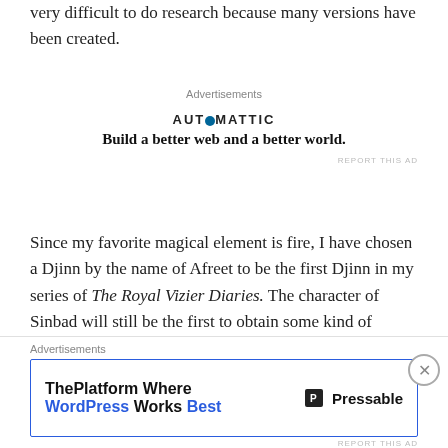very difficult to do research because many versions have been created.
[Figure (other): Automattic advertisement: logo text 'AUTOMATTIC' with a circular icon, tagline 'Build a better web and a better world.']
Since my favorite magical element is fire, I have chosen a Djinn by the name of Afreet to be the first Djinn in my series of The Royal Vizier Diaries. The character of Sinbad will still be the first to obtain some kind of power from a Djinn, but my powers work differently. Instead of granting three wishes, the person who obtains mastery of a Djin only has three choices.
The first two types are when Djinn becomes a personal slave.
[Figure (other): Pressable advertisement banner: 'ThePlatform Where WordPress Works Best' with Pressable logo]